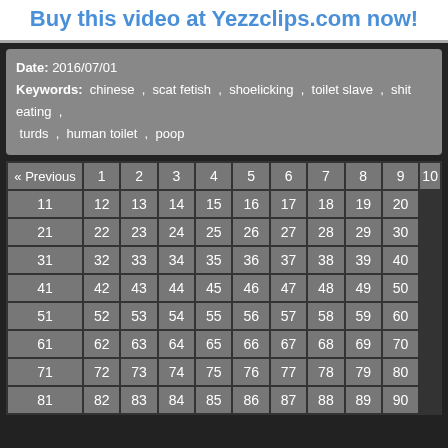Buy this video at Yezzclips.com now!
Date: 2016/07/01
Keywords: chinese , scat fetish , shoelicking , toilet slave , shit eating , turds , human toilet , poop
| « Previous | 1 | 2 | 3 | 4 | 5 | 6 | 7 | 8 | 9 | 10 |
| --- | --- | --- | --- | --- | --- | --- | --- | --- | --- | --- |
| 11 | 12 | 13 | 14 | 15 | 16 | 17 | 18 | 19 | 20 |
| 21 | 22 | 23 | 24 | 25 | 26 | 27 | 28 | 29 | 30 |
| 31 | 32 | 33 | 34 | 35 | 36 | 37 | 38 | 39 | 40 |
| 41 | 42 | 43 | 44 | 45 | 46 | 47 | 48 | 49 | 50 |
| 51 | 52 | 53 | 54 | 55 | 56 | 57 | 58 | 59 | 60 |
| 61 | 62 | 63 | 64 | 65 | 66 | 67 | 68 | 69 | 70 |
| 71 | 72 | 73 | 74 | 75 | 76 | 77 | 78 | 79 | 80 |
| 81 | 82 | 83 | 84 | 85 | 86 | 87 | 88 | 89 | 90 |